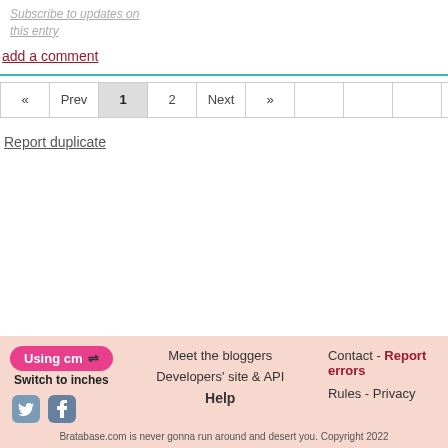Subscribe to updates on this entry
add a comment
« Prev 1 2 Next » 2 Pages
Report duplicate
Using cm ⇌ Switch to inches | Meet the bloggers | Contact - Report errors | Developers' site & API | Rules - Privacy | Help | Bratabase.com is never gonna run around and desert you. Copyright 2022